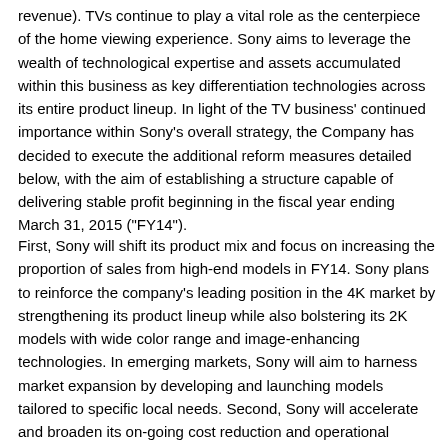revenue). TVs continue to play a vital role as the centerpiece of the home viewing experience. Sony aims to leverage the wealth of technological expertise and assets accumulated within this business as key differentiation technologies across its entire product lineup. In light of the TV business' continued importance within Sony's overall strategy, the Company has decided to execute the additional reform measures detailed below, with the aim of establishing a structure capable of delivering stable profit beginning in the fiscal year ending March 31, 2015 ("FY14").
First, Sony will shift its product mix and focus on increasing the proportion of sales from high-end models in FY14. Sony plans to reinforce the company's leading position in the 4K market by strengthening its product lineup while also bolstering its 2K models with wide color range and image-enhancing technologies. In emerging markets, Sony will aim to harness market expansion by developing and launching models tailored to specific local needs. Second, Sony will accelerate and broaden its on-going cost reduction and operational improvement measures, focusing attention across all functions relevant to the TV business, including manufacturing, sales, and headquarters/indirect functions (as outlined below). In addition